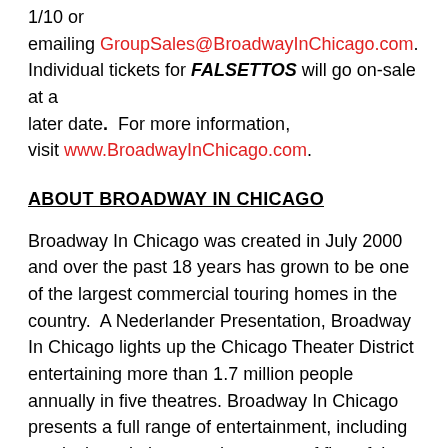1/10 or emailing GroupSales@BroadwayInChicago.com. Individual tickets for FALSETTOS will go on-sale at a later date.  For more information, visit www.BroadwayInChicago.com.
ABOUT BROADWAY IN CHICAGO
Broadway In Chicago was created in July 2000 and over the past 18 years has grown to be one of the largest commercial touring homes in the country.  A Nederlander Presentation, Broadway In Chicago lights up the Chicago Theater District entertaining more than 1.7 million people annually in five theatres. Broadway In Chicago presents a full range of entertainment, including musicals and plays, on the stages of five of the finest theatres in Chicago's Loop including the Cadillac Palace Theatre, CIBC Theatre, Oriental Theatre, and just off the Magnificent Mile, the Broadway Playhouse at